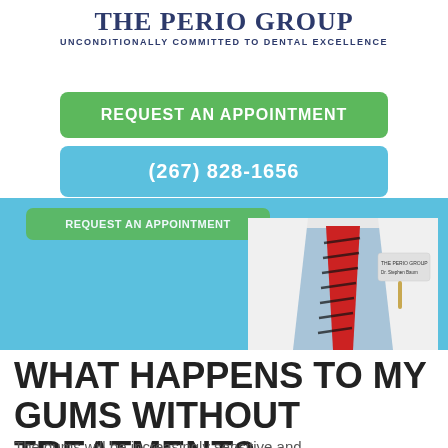THE PERIO GROUP
UNCONDITIONALLY COMMITTED TO DENTAL EXCELLENCE
REQUEST AN APPOINTMENT
(267) 828-1656
[Figure (photo): Hero banner showing a doctor in a white lab coat with a red striped tie, blue background, and a partially visible green 'REQUEST AN APPOINTMENT' button overlay. Doctor's coat shows 'The Perio Group' badge.]
WHAT HAPPENS TO MY GUMS WITHOUT TREATMENT?
The gums will be increasingly sensitive and